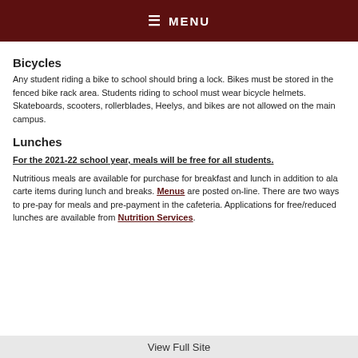☰ MENU
Bicycles
Any student riding a bike to school should bring a lock. Bikes must be stored in the fenced bike rack area. Students riding to school must wear bicycle helmets.
Skateboards, scooters, rollerblades, Heelys, and bikes are not allowed on the main campus.
Lunches
For the 2021-22 school year, meals will be free for all students.
Nutritious meals are available for purchase for breakfast and lunch in addition to ala carte items during lunch and breaks. Menus are posted on-line. There are two ways to pre-pay for meals and pre-payment in the cafeteria. Applications for free/reduced lunches are available from Nutrition Services.
View Full Site